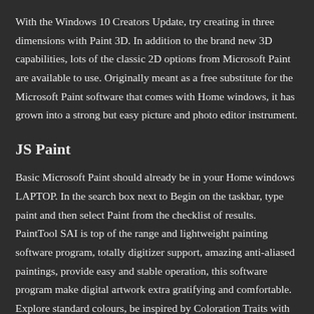With the Windows 10 Creators Update, try creating in three dimensions with Paint 3D. In addition to the brand new 3D capabilities, lots of the classic 2D options from Microsoft Paint are available to use. Originally meant as a free substitute for the Microsoft Paint software that comes with Home windows, it has grown into a strong but easy picture and photo editor instrument.
JS Paint
Basic Microsoft Paint should already be in your Home windows LAPTOP. In the search box next to Begin on the taskbar, type paint and then select Paint from the checklist of results. PaintTool SAI is top of the range and lightweight painting software program, totally digitizer support, amazing anti-aliased paintings, provide easy and stable operation, this software program make digital artwork extra gratifying and comfortable. Explore standard colours, be inspired by Coloration Traits with ColorSmart, and visualize paint colours